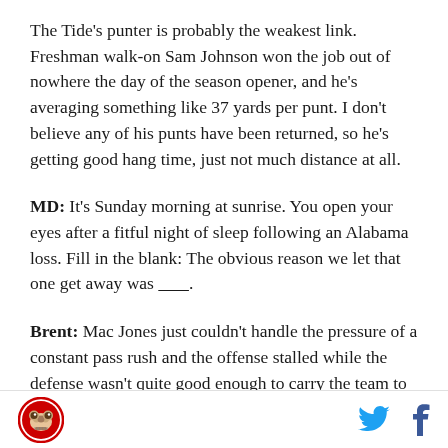The Tide's punter is probably the weakest link. Freshman walk-on Sam Johnson won the job out of nowhere the day of the season opener, and he's averaging something like 37 yards per punt. I don't believe any of his punts have been returned, so he's getting good hang time, just not much distance at all.
MD: It's Sunday morning at sunrise. You open your eyes after a fitful night of sleep following an Alabama loss. Fill in the blank: The obvious reason we let that one get away was _______.
Brent: Mac Jones just couldn't handle the pressure of a constant pass rush and the offense stalled while the defense wasn't quite good enough to carry the team to
[logo] [twitter] [facebook]